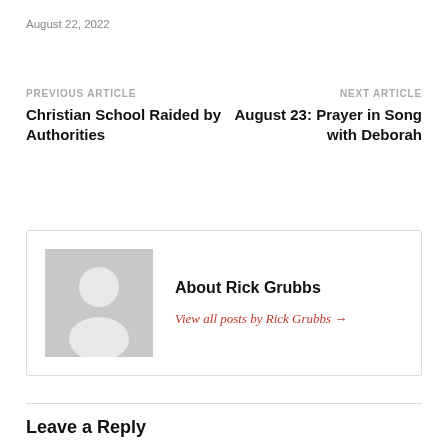August 22, 2022
PREVIOUS ARTICLE
Christian School Raided by Authorities
NEXT ARTICLE
August 23: Prayer in Song with Deborah
About Rick Grubbs
View all posts by Rick Grubbs →
Leave a Reply